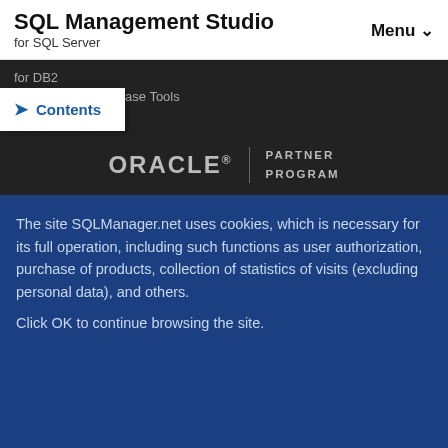SQL Management Studio for SQL Server | Menu
for DB2
Free Database Tools
> Contents
[Figure (logo): ORACLE® PARTNER PROGRAM logo in gray on dark background]
The site SQLManager.net uses cookies, which is necessary for its full operation, including such functions as user authorization, purchase of products, collection of statistics of visits (excluding personal data), and others.
Click OK to continue browsing the site.
OK